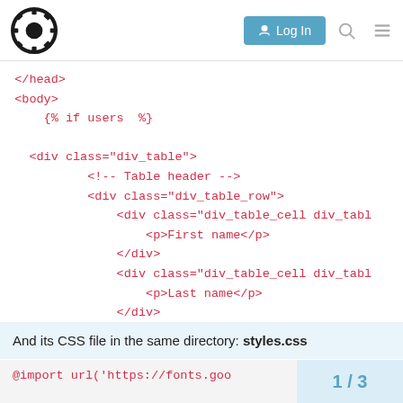Rust Forum — Log In
[Figure (screenshot): Code block showing HTML template snippet with div_table structure in red monospace font on white background]
And its CSS file in the same directory: styles.css
[Figure (screenshot): Bottom code snippet showing @import url('https://fonts.goo...]